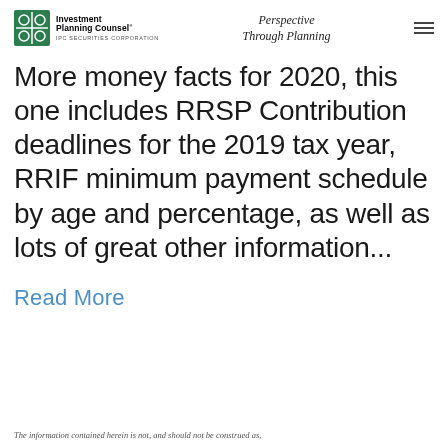Investment Planning Counsel® IPC SECURITIES CORPORATION | Perspective Through Planning
More money facts for 2020, this one includes RRSP Contribution deadlines for the 2019 tax year, RRIF minimum payment schedule by age and percentage, as well as lots of great other information...
Read More
The information contained herein is not, and should not be construed as,